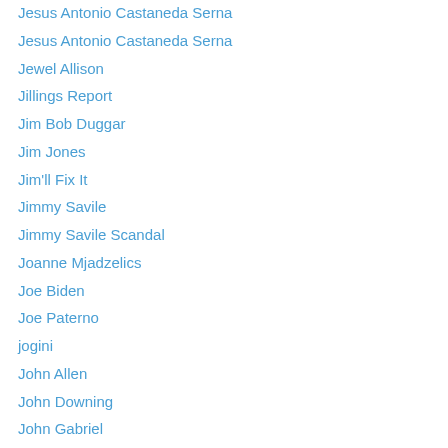Jesus Antonio Castaneda Serna
Jewel Allison
Jillings Report
Jim Bob Duggar
Jim Jones
Jim'll Fix It
Jimmy Savile
Jimmy Savile Scandal
Joanne Mjadzelics
Joe Biden
Joe Paterno
jogini
John Allen
John Downing
John Gabriel
John Grissom
John Jamelske
John Perry
John Podesta